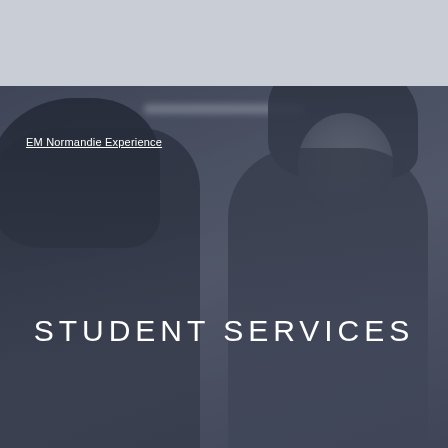[Figure (photo): Two female students in a school/university hallway setting, photo in grayscale with blue overlay tint. Top portion is a light blue-grey header area.]
EM Normandie Experience
STUDENT SERVICES